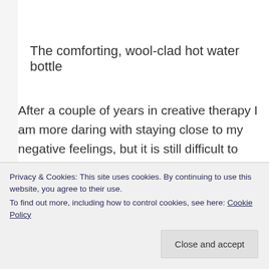The comforting, wool-clad hot water bottle
After a couple of years in creative therapy I am more daring with staying close to my negative feelings, but it is still difficult to discover them. However, almost always when I squish the cozy I start to cry – no matter if it is
Privacy & Cookies: This site uses cookies. By continuing to use this website, you agree to their use.
To find out more, including how to control cookies, see here: Cookie Policy
Close and accept